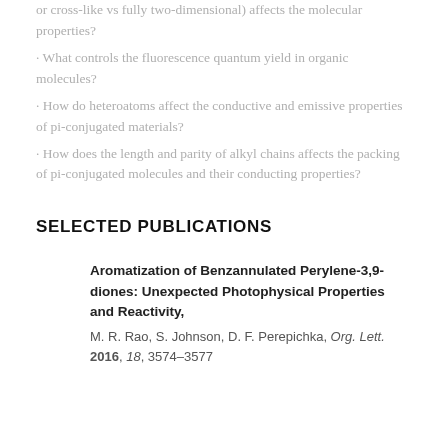or cross-like vs fully two-dimensional) affects the molecular properties?
· What controls the fluorescence quantum yield in organic molecules?
· How do heteroatoms affect the conductive and emissive properties of pi-conjugated materials?
· How does the length and parity of alkyl chains affects the packing of pi-conjugated molecules and their conducting properties?
SELECTED PUBLICATIONS
Aromatization of Benzannulated Perylene-3,9-diones: Unexpected Photophysical Properties and Reactivity,
M. R. Rao, S. Johnson, D. F. Perepichka, Org. Lett. 2016, 18, 3574–3577